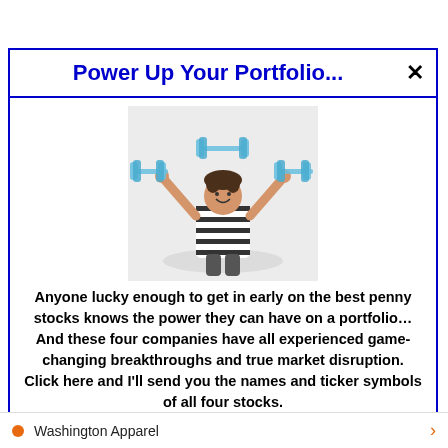Power Up Your Portfolio...
[Figure (photo): Child with arms raised holding illustrated dumbbells overhead, wearing a striped shirt, against a white background]
Anyone lucky enough to get in early on the best penny stocks knows the power they can have on a portfolio… And these four companies have all experienced game-changing breakthroughs and true market disruption. Click here and I'll send you the names and ticker symbols of all four stocks.
>>> See The List <<<
Washington Apparel